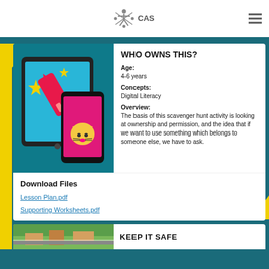CAS logo and navigation
[Figure (illustration): Tablet and smartphone devices with a rocket and star graphic on a teal background]
WHO OWNS THIS?
Age: 4-6 years
Concepts: Digital Literacy
Overview: The basis of this scavenger hunt activity is looking at ownership and permission, and the idea that if we want to use something which belongs to someone else, we have to ask.
Download Files
Lesson Plan.pdf
Supporting Worksheets.pdf
KEEP IT SAFE